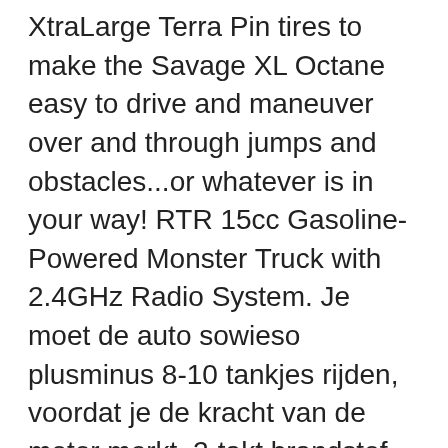XtraLarge Terra Pin tires to make the Savage XL Octane easy to drive and maneuver over and through jumps and obstacles...or whatever is in your way! RTR 15cc Gasoline-Powered Monster Truck with 2.4GHz Radio System. Je moet de auto sowieso plusminus 8-10 tankjes rijden, voordat je de kracht van de motor merkt. 2-takt brandstof motor. zonder meerkost) van 10u tot 18u30 of per email. The truck is also more reliable with a relocated […] The Octane engine is fitted with a tough pullstarter system that gets the engine going with a single easy pull, and uses an electronic management system keeps everything ticking over perfectly. Auto rijdt geweldig, start -en schakelt zonder problemen